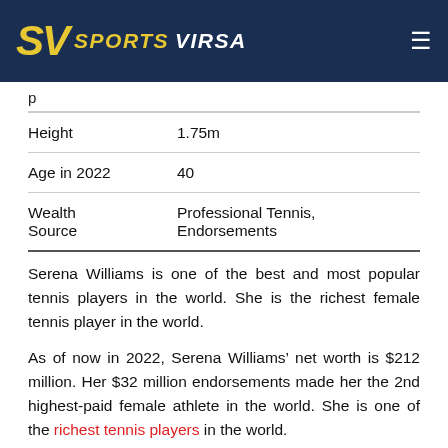SV SPORTS VIRSA
| Height | 1.75m |
| Age in 2022 | 40 |
| Wealth Source | Professional Tennis, Endorsements |
Serena Williams is one of the best and most popular tennis players in the world. She is the richest female tennis player in the world.
As of now in 2022, Serena Williams’ net worth is $212 million. Her $32 million endorsements made her the 2nd highest-paid female athlete in the world. She is one of the richest tennis players in the world.